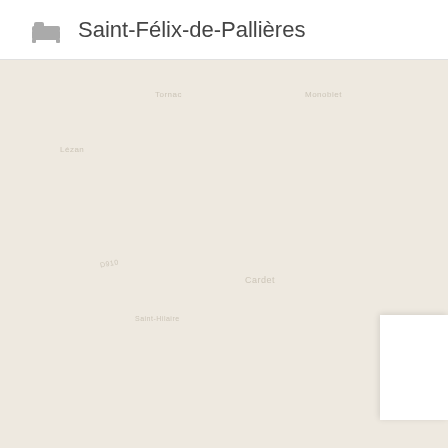[Figure (screenshot): Header bar with bed/accommodation icon and location name Saint-Félix-de-Pallières, followed by a light beige map area with faint road labels and a white UI card in the bottom right corner.]
Saint-Félix-de-Pallières